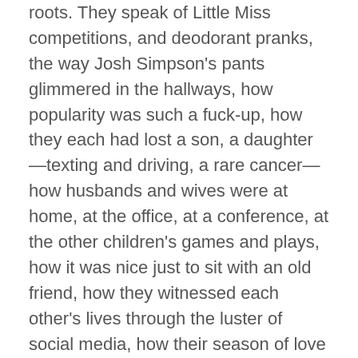roots. They speak of Little Miss competitions, and deodorant pranks, the way Josh Simpson's pants glimmered in the hallways, how popularity was such a fuck-up, how they each had lost a son, a daughter—texting and driving, a rare cancer—how husbands and wives were at home, at the office, at a conference, at the other children's games and plays, how it was nice just to sit with an old friend, how they witnessed each other's lives through the luster of social media, how their season of love might have been their best season alive, how holding hands now was just a memory, a reflex, how kissing wasn't cheating, because they'd done it before, done it for hours, until they had to suck the spit back into their throats, laughing as they swiped away the spittle, and tucked back in for another hour, how they're glad and maybe a little sad that there isn't a hotel in this town, because who would want to stay here anyway, how they're certainly too old for any back seat of the car kind of